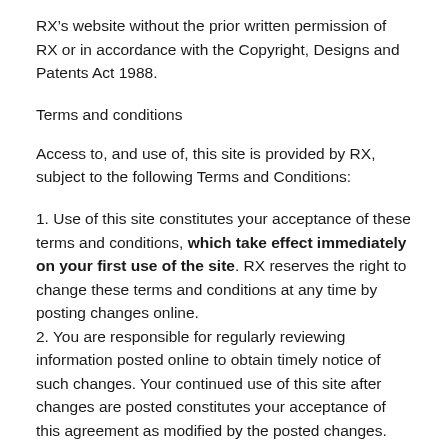RX’s website without the prior written permission of RX or in accordance with the Copyright, Designs and Patents Act 1988.
Terms and conditions
Access to, and use of, this site is provided by RX, subject to the following Terms and Conditions:
1. Use of this site constitutes your acceptance of these terms and conditions, which take effect immediately on your first use of the site. RX reserves the right to change these terms and conditions at any time by posting changes online.
2. You are responsible for regularly reviewing information posted online to obtain timely notice of such changes. Your continued use of this site after changes are posted constitutes your acceptance of this agreement as modified by the posted changes.